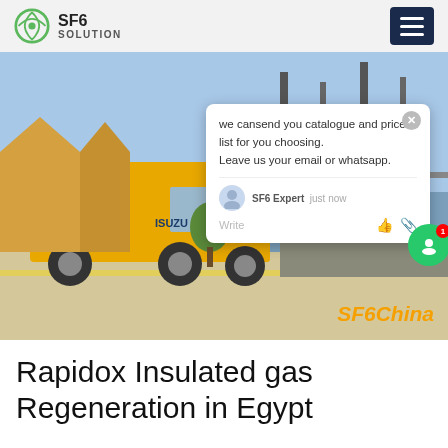SF6 SOLUTION
[Figure (photo): An Isuzu yellow truck parked at an electrical substation in Egypt. A chat popup overlay reads: 'we can send you catalogue and price list for you choosing. Leave us your email or whatsapp.' with SF6 Expert, just now. Bottom right watermark: SFoChina]
Rapidox Insulated gas Regeneration in Egypt